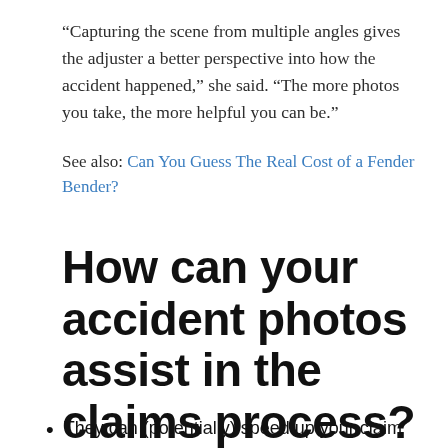“Capturing the scene from multiple angles gives the adjuster a better perspective into how the accident happened,” she said. “The more photos you take, the more helpful you can be.”
See also: Can You Guess The Real Cost of a Fender Bender?
How can your accident photos assist in the claims process?
They can (potentially) speed up your claim